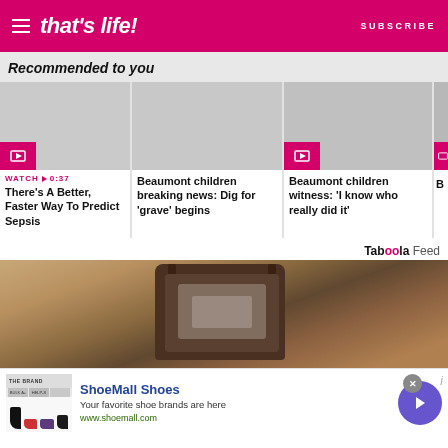that's life! — SUBSCRIBE
Recommended to you
There's A Better, Faster Way To Predict Sepsis
Beaumont children breaking news: Dig for 'grave' begins
Beaumont children witness: 'I know who really did it'
WATCH ▶ 0:37
[Figure (screenshot): Taboola Feed section with large exterior lantern image]
ShoeMall Shoes
Your favorite shoe brands are here
www.shoemall.com